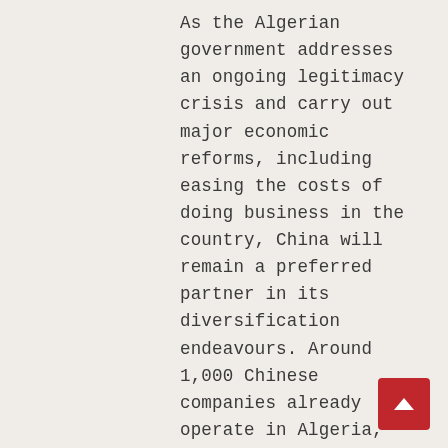As the Algerian government addresses an ongoing legitimacy crisis and carry out major economic reforms, including easing the costs of doing business in the country, China will remain a preferred partner in its diversification endeavours. Around 1,000 Chinese companies already operate in Algeria, and the waiving of the 51/49 ownership rule (for non-strategic sectors) along with evolving BRI-engagement will likely increase that number. The government has identified key areas where Algeria can leverage its competitive advantage, such as solar energy. There are also significant plans for the mining of